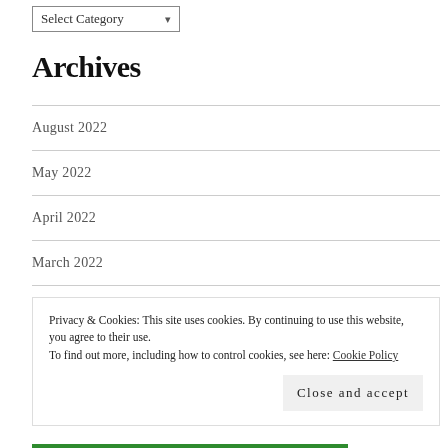Select Category
Archives
August 2022
May 2022
April 2022
March 2022
December 2021
October 2021
Privacy & Cookies: This site uses cookies. By continuing to use this website, you agree to their use.
To find out more, including how to control cookies, see here: Cookie Policy
Close and accept